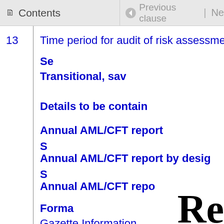Contents | Previous clause | Ne
13  Time period for audit of risk assessment a
Se
Transitional, sav
Details to be contain
Annual AML/CFT report
S
Annual AML/CFT report by desig
S
Annual AML/CFT repo
Forma
Gazette Information
Reprint notes
Re